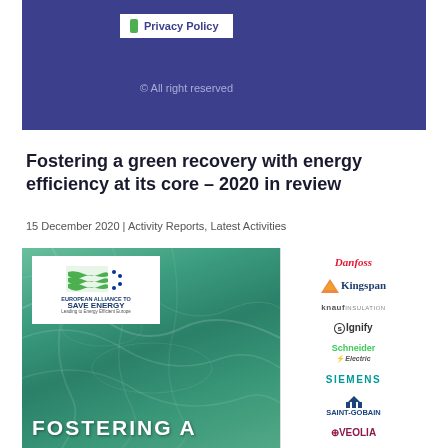Privacy Policy
© All right reserved
Fostering a green recovery with energy efficiency at its core – 2020 in review
15 December 2020 | Activity Reports, Latest Activities
[Figure (illustration): Cover image of a report titled 'Fostering A...' showing a green aerial/satellite background with the European Alliance to Save Energy (EASE) logo and partner company logos including Danfoss, Kingspan, Knauf Insulation, Signify, Schneider Electric, Siemens, Saint-Gobain, and Veolia]